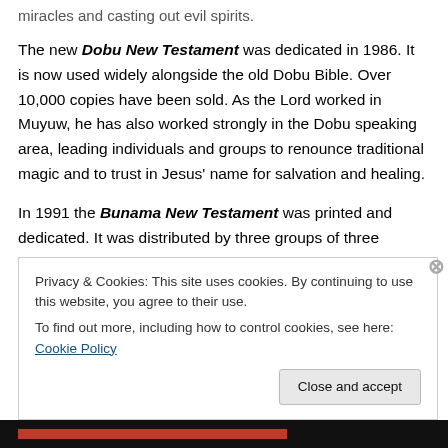miracles and casting out evil spirits.
The new Dobu New Testament was dedicated in 1986. It is now used widely alongside the old Dobu Bible. Over 10,000 copies have been sold. As the Lord worked in Muyuw, he has also worked strongly in the Dobu speaking area, leading individuals and groups to renounce traditional magic and to trust in Jesus' name for salvation and healing.
In 1991 the Bunama New Testament was printed and dedicated. It was distributed by three groups of three
Privacy & Cookies: This site uses cookies. By continuing to use this website, you agree to their use.
To find out more, including how to control cookies, see here: Cookie Policy